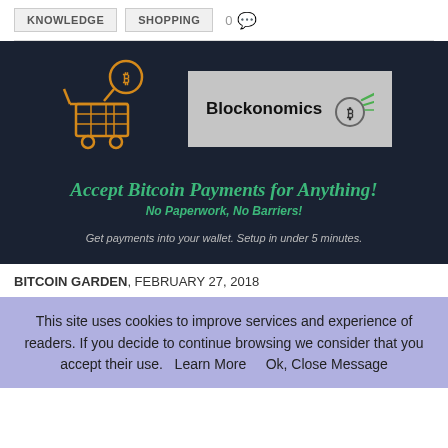KNOWLEDGE   SHOPPING   0
[Figure (infographic): Dark background banner with orange shopping cart icon with a Bitcoin speech bubble, and Blockonomics logo in a grey box. Text reads: Accept Bitcoin Payments for Anything! No Paperwork, No Barriers! Get payments into your wallet. Setup in under 5 minutes.]
BITCOIN GARDEN, FEBRUARY 27, 2018
This site uses cookies to improve services and experience of readers. If you decide to continue browsing we consider that you accept their use.   Learn More     Ok, Close Message